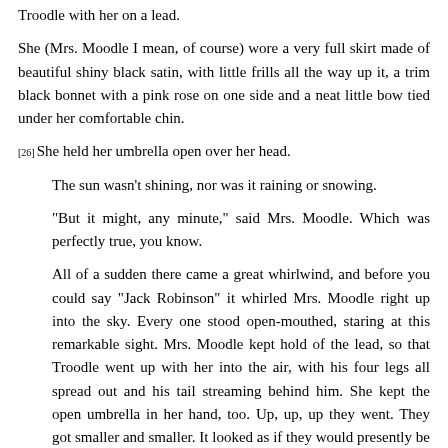Troodle with her on a lead.
She (Mrs. Moodle I mean, of course) wore a very full skirt made of beautiful shiny black satin, with little frills all the way up it, a trim black bonnet with a pink rose on one side and a neat little bow tied under her comfortable chin.
[26] She held her umbrella open over her head.
The sun wasn't shining, nor was it raining or snowing.
"But it might, any minute," said Mrs. Moodle. Which was perfectly true, you know.
All of a sudden there came a great whirlwind, and before you could say "Jack Robinson" it whirled Mrs. Moodle right up into the sky. Every one stood open-mouthed, staring at this remarkable sight. Mrs. Moodle kept hold of the lead, so that Troodle went up with her into the air, with his four legs all spread out and his tail streaming behind him. She kept the open umbrella in her hand, too. Up, up, up they went. They got smaller and smaller. It looked as if they would presently be as high as the clouds.
Then the whirlwind stopped whirling as suddenly as it